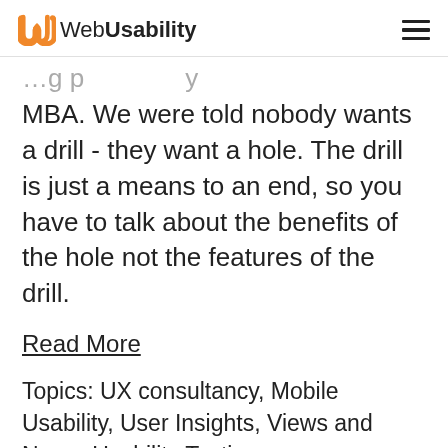Web Usability
MBA. We were told nobody wants a drill - they want a hole. The drill is just a means to an end, so you have to talk about the benefits of the hole not the features of the drill.
Read More
Topics: UX consultancy, Mobile Usability, User Insights, Views and News, Usability Testing